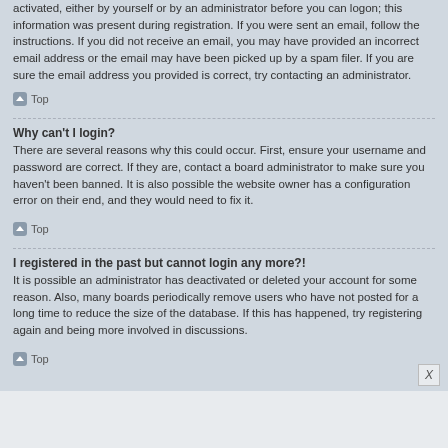activated, either by yourself or by an administrator before you can logon; this information was present during registration. If you were sent an email, follow the instructions. If you did not receive an email, you may have provided an incorrect email address or the email may have been picked up by a spam filer. If you are sure the email address you provided is correct, try contacting an administrator.
Top
Why can't I login?
There are several reasons why this could occur. First, ensure your username and password are correct. If they are, contact a board administrator to make sure you haven't been banned. It is also possible the website owner has a configuration error on their end, and they would need to fix it.
Top
I registered in the past but cannot login any more?!
It is possible an administrator has deactivated or deleted your account for some reason. Also, many boards periodically remove users who have not posted for a long time to reduce the size of the database. If this has happened, try registering again and being more involved in discussions.
Top